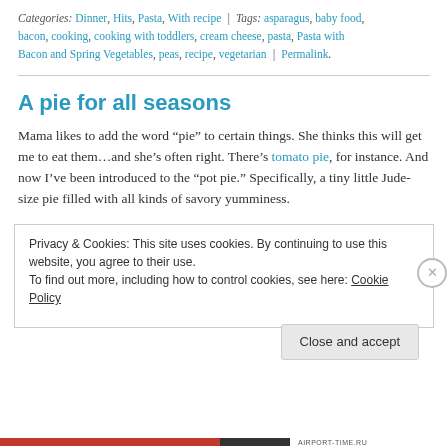Categories: Dinner, Hits, Pasta, With recipe | Tags: asparagus, baby food, bacon, cooking, cooking with toddlers, cream cheese, pasta, Pasta with Bacon and Spring Vegetables, peas, recipe, vegetarian | Permalink.
A pie for all seasons
Mama likes to add the word “pie” to certain things. She thinks this will get me to eat them…and she’s often right. There’s tomato pie, for instance. And now I’ve been introduced to the “pot pie.” Specifically, a tiny little Jude-size pie filled with all kinds of savory yumminess.
Privacy & Cookies: This site uses cookies. By continuing to use this website, you agree to their use.
To find out more, including how to control cookies, see here: Cookie Policy
Close and accept